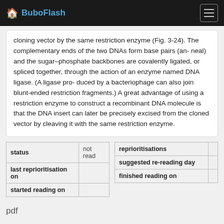BuboFlash
cloning vector by the same restriction enzyme (Fig. 3-24). The complementary ends of the two DNAs form base pairs (an- neal) and the sugar–phosphate backbones are covalently ligated, or spliced together, through the action of an enzyme named DNA ligase. (A ligase pro- duced by a bacteriophage can also join blunt-ended restriction fragments.) A great advantage of using a restriction enzyme to construct a recombinant DNA molecule is that the DNA insert can later be precisely excised from the cloned vector by cleaving it with the same restriction enzyme.
| status | not read |
| --- | --- |
| last reprioritisation on |  |
| started reading on |  |
| reprioritisations |  |
| --- | --- |
| suggested re-reading day |  |
| finished reading on |  |
pdf